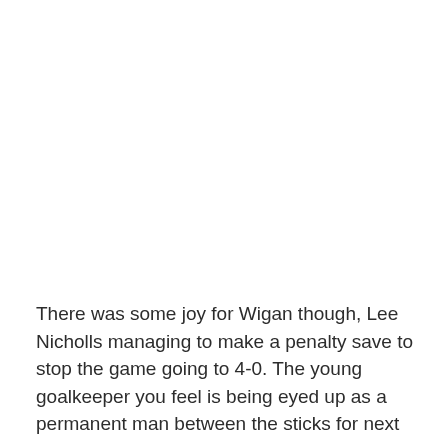There was some joy for Wigan though, Lee Nicholls managing to make a penalty save to stop the game going to 4-0. The young goalkeeper you feel is being eyed up as a permanent man between the sticks for next year.